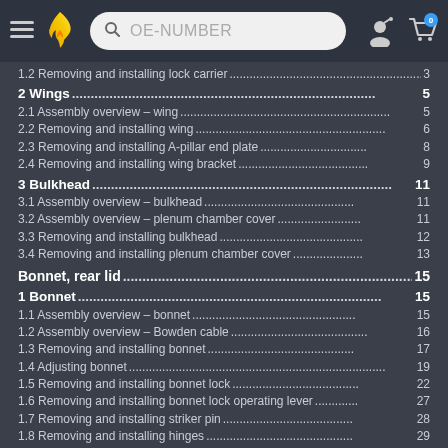OE-NUMBER search bar header with logo and cart
1.2 Removing and installing lock carrier ... 3
2 Wings ... 5
2.1 Assembly overview – wing ... 5
2.2 Removing and installing wing ... 6
2.3 Removing and installing A-pillar end plate ... 8
2.4 Removing and installing wing bracket ... 9
3 Bulkhead ... 11
3.1 Assembly overview – bulkhead ... 11
3.2 Assembly overview – plenum chamber cover ... 11
3.3 Removing and installing bulkhead ... 12
3.4 Removing and installing plenum chamber cover ... 13
Bonnet, rear lid ... 15
1 Bonnet ... 15
1.1 Assembly overview – bonnet ... 15
1.2 Assembly overview – Bowden cable ... 16
1.3 Removing and installing bonnet ... 17
1.4 Adjusting bonnet ... 19
1.5 Removing and installing bonnet lock ... 22
1.6 Removing and installing bonnet lock operating lever ... 27
1.7 Removing and installing striker pin ... 28
1.8 Removing and installing hinges ... 29
1.9 Removing and installing bonnet stay ... 29
1.10 Removing and installing Bowden cable ... 30
2 Rear lid ... 32
2.1 Assembly overview – rear lid ... 32